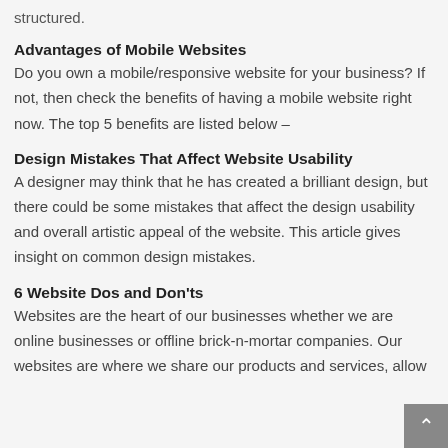structured.
Advantages of Mobile Websites
Do you own a mobile/responsive website for your business? If not, then check the benefits of having a mobile website right now. The top 5 benefits are listed below –
Design Mistakes That Affect Website Usability
A designer may think that he has created a brilliant design, but there could be some mistakes that affect the design usability and overall artistic appeal of the website. This article gives insight on common design mistakes.
6 Website Dos and Don'ts
Websites are the heart of our businesses whether we are online businesses or offline brick-n-mortar companies. Our websites are where we share our products and services, allow